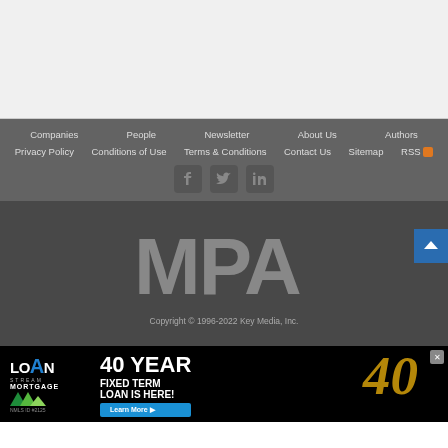Companies | People | Newsletter | About Us | Authors | Privacy Policy | Conditions of Use | Terms & Conditions | Contact Us | Sitemap | RSS
[Figure (logo): MPA logo in large gray letters on dark background]
Copyright © 1996-2022 Key Media, Inc.
[Figure (infographic): Loan Stream Mortgage advertisement: 40 YEAR FIXED TERM LOAN IS HERE! Learn More button, NMLS ID #2125]